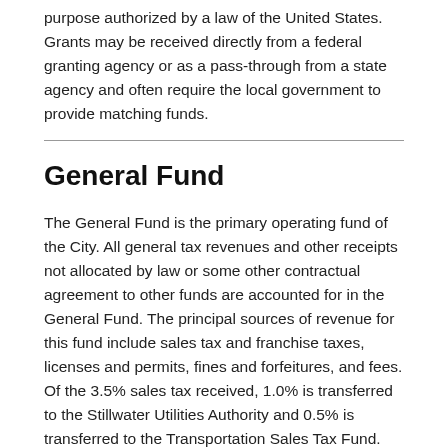purpose authorized by a law of the United States. Grants may be received directly from a federal granting agency or as a pass-through from a state agency and often require the local government to provide matching funds.
General Fund
The General Fund is the primary operating fund of the City. All general tax revenues and other receipts not allocated by law or some other contractual agreement to other funds are accounted for in the General Fund. The principal sources of revenue for this fund include sales tax and franchise taxes, licenses and permits, fines and forfeitures, and fees. Of the 3.5% sales tax received, 1.0% is transferred to the Stillwater Utilities Authority and 0.5% is transferred to the Transportation Sales Tax Fund. Expenditures from this fund include general administration, public safety, transportation, parks and